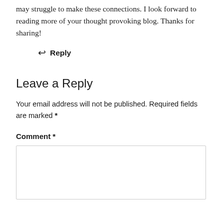may struggle to make these connections. I look forward to reading more of your thought provoking blog. Thanks for sharing!
↩ Reply
Leave a Reply
Your email address will not be published. Required fields are marked *
Comment *